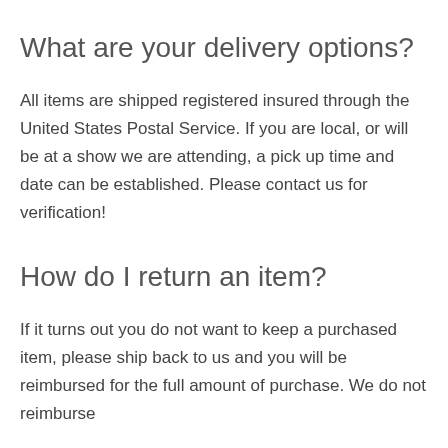What are your delivery options?
All items are shipped registered insured through the United States Postal Service. If you are local, or will be at a show we are attending, a pick up time and date can be established. Please contact us for verification!
How do I return an item?
If it turns out you do not want to keep a purchased item, please ship back to us and you will be reimbursed for the full amount of purchase. We do not reimburse